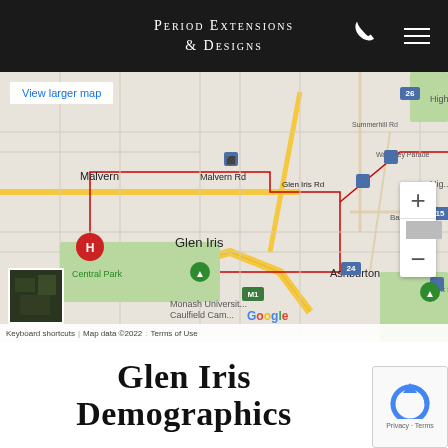Period Extensions & Designs
[Figure (map): Google Maps showing Glen Iris area in Melbourne, Australia. Map shows suburbs including Malvern, Glen Iris, Ashburton, Central Park, Monash University Caulfield Campus. Roads visible include Malvern Rd, Glen Iris Rd, Summerhill Rd, Waverley Parade, Bath Rd, Dent St. Highway M1 marked. Zoom controls on right. Attribution: Map data ©2022 Google.]
Glen Iris Demographics